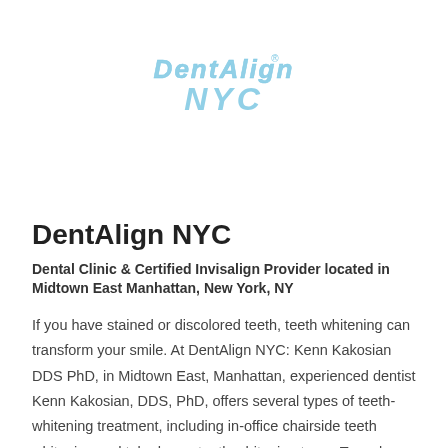[Figure (logo): DentAlign NYC logo in light blue stylized text]
DentAlign NYC
Dental Clinic & Certified Invisalign Provider located in Midtown East Manhattan, New York, NY
If you have stained or discolored teeth, teeth whitening can transform your smile. At DentAlign NYC: Kenn Kakosian DDS PhD, in Midtown East, Manhattan, experienced dentist Kenn Kakosian, DDS, PhD, offers several types of teeth-whitening treatment, including in-office chairside teeth whitening and take-home teeth-whitening trays. To make